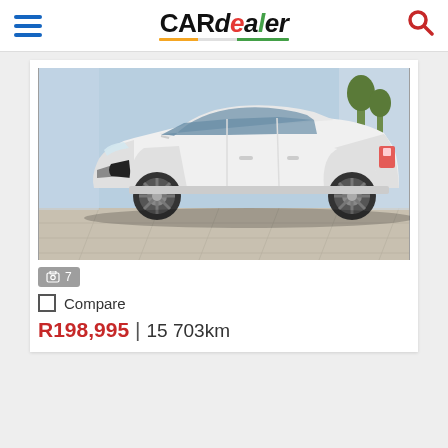CARdealer
[Figure (photo): White Kia hatchback sedan displayed in a car dealership showroom, photographed from a front three-quarter angle. The car is white with dark tinted windows, basic steel wheels, and aggressive front bumper styling. The showroom has large glass windows revealing trees and a sunny outdoor scene.]
7
Compare
R198,995 | 15 703km